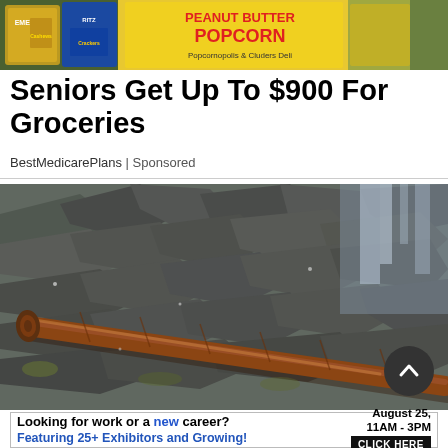[Figure (photo): Top banner showing grocery snack items including peanut butter popcorn bag and other snack packages]
Seniors Get Up To $900 For Groceries
BestMedicarePlans | Sponsored
[Figure (photo): Large photo of a wooden log or stick resting on dark grey rocky terrain with water visible in background]
Looking for work or a new career? August 25, 11AM - 3PM Featuring 25+ Exhibitors and Growing! CLICK HERE